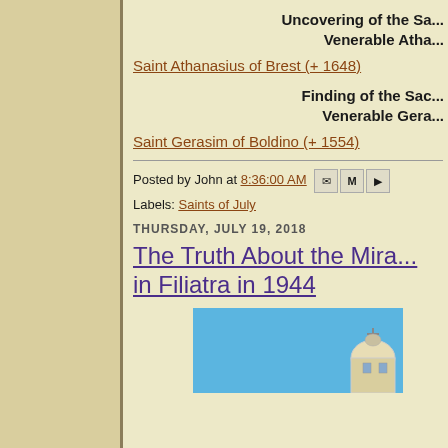Uncovering of the Sacred Relics of the Venerable Athanasius...
Saint Athanasius of Brest (+ 1648)
Finding of the Sacred Relics of the Venerable Gerasim...
Saint Gerasim of Boldino (+ 1554)
Posted by John at 8:36:00 AM
Labels: Saints of July
THURSDAY, JULY 19, 2018
The Truth About the Miracle in Filiatra in 1944
[Figure (photo): Blue sky with partial view of a church/dome building]